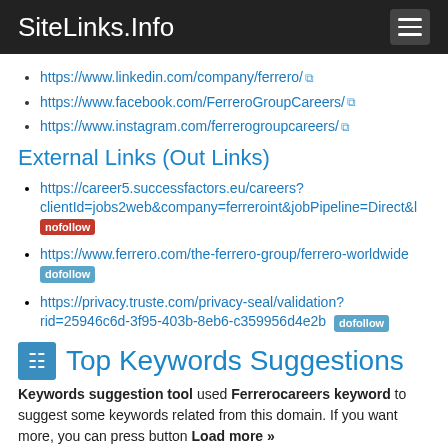SiteLinks.Info
https://www.linkedin.com/company/ferrero/
https://www.facebook.com/FerreroGroupCareers/
https://www.instagram.com/ferrerogroupcareers/
External Links (Out Links)
https://career5.successfactors.eu/careers?clientId=jobs2web&company=ferreroint&jobPipeline=Direct&l [nofollow]
https://www.ferrero.com/the-ferrero-group/ferrero-worldwide [dofollow]
https://privacy.truste.com/privacy-seal/validation?rid=25946c6d-3f95-403b-8eb6-c359956d4e2b [dofollow]
Top Keywords Suggestions
Keywords suggestion tool used Ferrerocareers keyword to suggest some keywords related from this domain. If you want more, you can press button Load more »